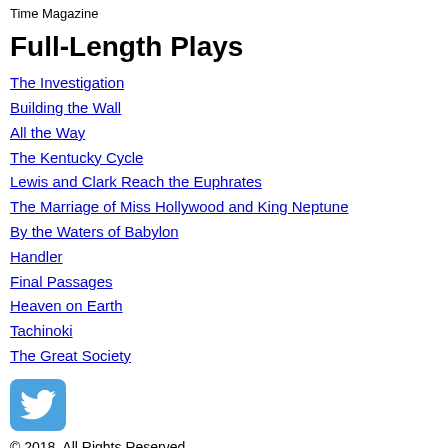Time Magazine
Full-Length Plays
The Investigation
Building the Wall
All the Way
The Kentucky Cycle
Lewis and Clark Reach the Euphrates
The Marriage of Miss Hollywood and King Neptune
By the Waters of Babylon
Handler
Final Passages
Heaven on Earth
Tachinoki
The Great Society
[Figure (logo): Twitter bird logo icon in blue rounded square]
© 2018. All Rights Reserved.